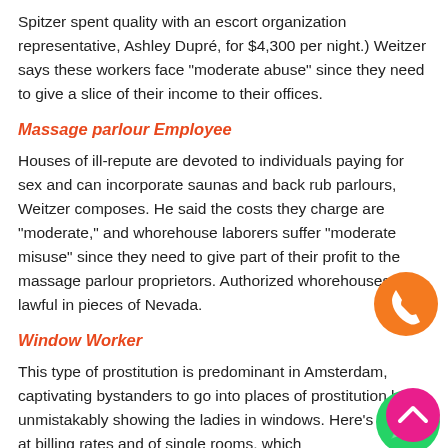Spitzer spent quality with an escort organization representative, Ashley Dupré, for $4,300 per night.) Weitzer says these workers face "moderate abuse" since they need to give a slice of their income to their offices.
Massage parlour Employee
Houses of ill-repute are devoted to individuals paying for sex and can incorporate saunas and back rub parlours, Weitzer composes. He said the costs they charge are "moderate," and whorehouse laborers suffer "moderate misuse" since they need to give part of their profit to the massage parlour proprietors. Authorized whorehouses are lawful in pieces of Nevada.
Window Worker
This type of prostitution is predominant in Amsterdam, captivating bystanders to go into places of prostitution by unmistakably showing the ladies in windows. Here's Weitzer at billing rates and of single rooms, which